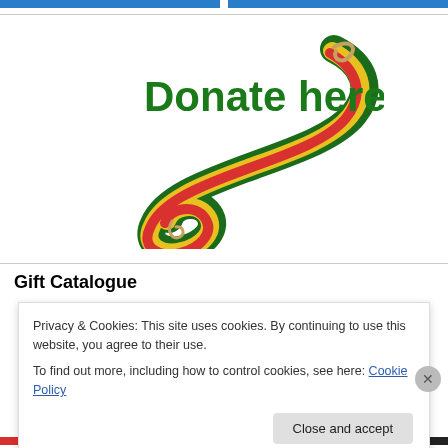[Figure (logo): Donate here! logo with colorful swirling ribbon in green, yellow, and red colors]
Gift Catalogue
Privacy & Cookies: This site uses cookies. By continuing to use this website, you agree to their use.
To find out more, including how to control cookies, see here: Cookie Policy
Close and accept